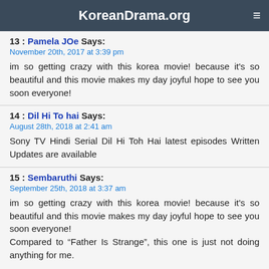KoreanDrama.org
13 : Pamela JOe Says:
November 20th, 2017 at 3:39 pm

im so getting crazy with this korea movie! because it's so beautiful and this movie makes my day joyful hope to see you soon everyone!
14 : Dil Hi To hai Says:
August 28th, 2018 at 2:41 am

Sony TV Hindi Serial Dil Hi Toh Hai latest episodes Written Updates are available
15 : Sembaruthi Says:
September 25th, 2018 at 3:37 am

im so getting crazy with this korea movie! because it's so beautiful and this movie makes my day joyful hope to see you soon everyone!
Compared to “Father Is Strange", this one is just not doing anything for me.